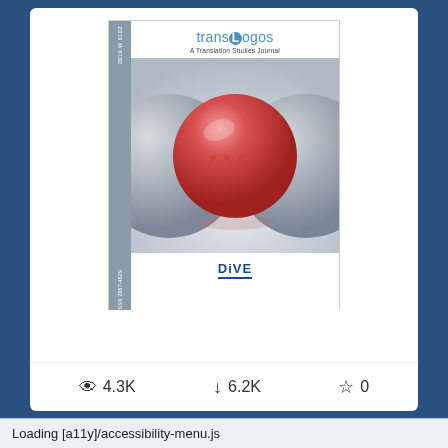[Figure (illustration): Cover of transLogos: A Translation Studies Journal (2019), featuring grey metallic spheres with one red sphere standing out, and DiVE logo at bottom. Journal spine shows year and ISSN information.]
↓ Download Cover Image
👁 4.3K   ↓ 6.2K   ☆ 0
Loading [a11y]/accessibility-menu.js